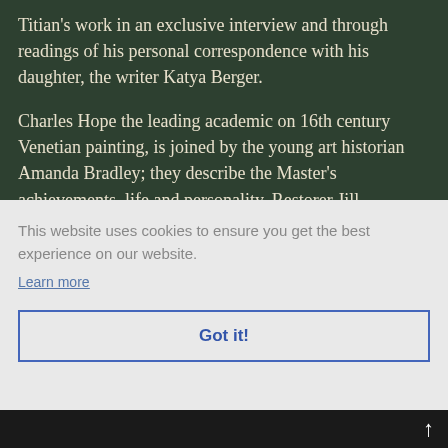Titian's work in an exclusive interview and through readings of his personal correspondence with his daughter, the writer Katya Berger.
Charles Hope the leading academic on 16th century Venetian painting, is joined by the young art historian Amanda Bradley; they describe the Master's achievements, life and personality. Restorer Jill Dunkerton reveals, through the use X-ray and infrared images, Titian's painstaking but liberated method of
ay ...me
This website uses cookies to ensure you get the best experience on our website.
Learn more
Got it!